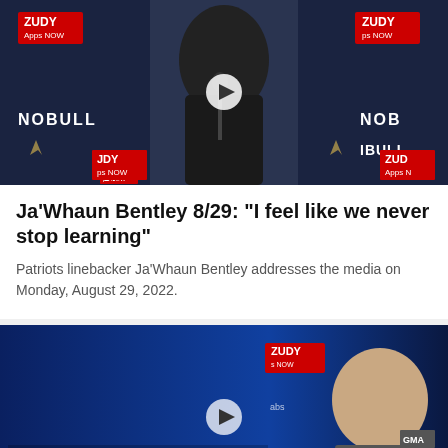[Figure (screenshot): Video thumbnail of Ja'Whaun Bentley at press conference podium with NOBULL and ZUDY Apps NOW sponsor banners in background]
Ja'Whaun Bentley 8/29: "I feel like we never stop learning"
Patriots linebacker Ja'Whaun Bentley addresses the media on Monday, August 29, 2022.
[Figure (screenshot): Video thumbnail of Bill Belichick at press conference with BILL BELICHICK lower-third text, ZUDY Apps NOW sponsor banner, older man smiling on right side]
Share icons: Facebook, Twitter, Email, Link